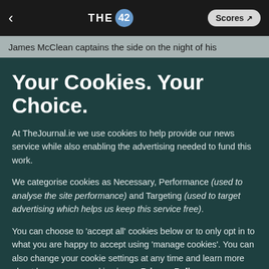THE 42 | Scores
James McClean captains the side on the night of his
Your Cookies. Your Choice.
At TheJournal.ie we use cookies to help provide our news service while also enabling the advertising needed to fund this work.
We categorise cookies as Necessary, Performance (used to analyse the site performance) and Targeting (used to target advertising which helps us keep this service free).
You can choose to 'accept all' cookies below or to only opt in to what you are happy to accept using 'manage cookies'. You can also change your cookie settings at any time and learn more about how we use cookies in our Privacy Policy